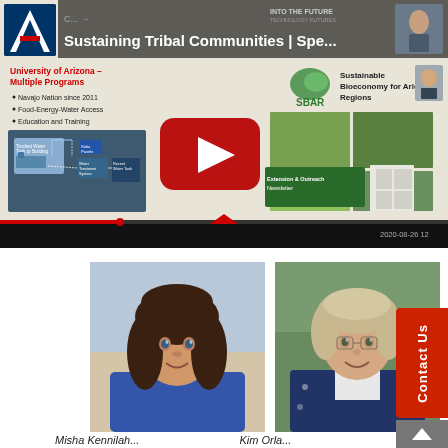[Figure (screenshot): YouTube video thumbnail showing a University of Arizona webinar titled 'Sustaining Tribal Communities | Spe...' with a presentation slide visible. The slide shows 'University of Arizona – Multiple Programs' on the left with bullet points (Navajo Nation since 2011, Food-Energy-Water Access, Education and Training) and a diagram of water/solar systems. On the right is the SBAR (Sustainable Bioeconomy for Arid Regions) logo with plant photos and an Extension & Outreach Newsletter image. A large red YouTube play button is centered on the video. The video bottom bar shows timestamp 2020-08-26 12.]
[Figure (photo): Headshot photo of a woman with long curly hair wearing a blue shirt, smiling, outdoors.]
[Figure (photo): Headshot photo of a woman with short blonde/gray hair wearing a dark floral blouse, smiling, outdoors with green background.]
Misha Kennilah...  Kim Orla...